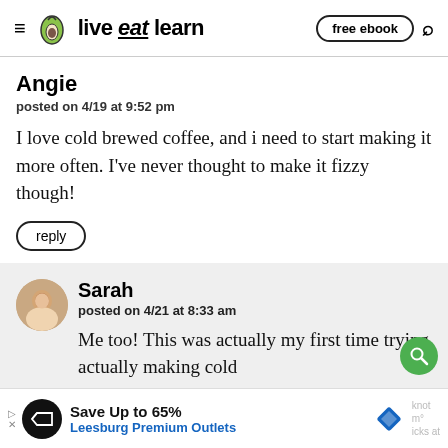live eat learn — free ebook
Angie
posted on 4/19 at 9:52 pm
I love cold brewed coffee, and i need to start making it more often. I've never thought to make it fizzy though!
reply
Sarah
posted on 4/21 at 8:33 am
Me too! This was actually my first time trying actually making cold
Save Up to 65% Leesburg Premium Outlets